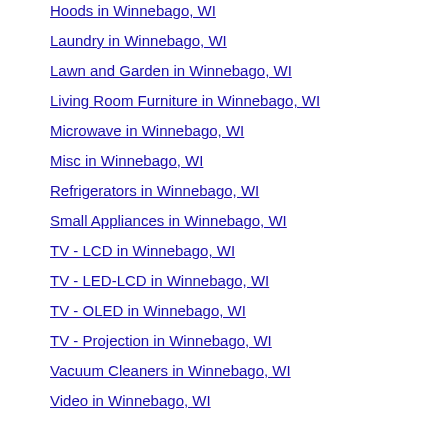Hoods in Winnebago, WI
Laundry in Winnebago, WI
Lawn and Garden in Winnebago, WI
Living Room Furniture in Winnebago, WI
Microwave in Winnebago, WI
Misc in Winnebago, WI
Refrigerators in Winnebago, WI
Small Appliances in Winnebago, WI
TV - LCD in Winnebago, WI
TV - LED-LCD in Winnebago, WI
TV - OLED in Winnebago, WI
TV - Projection in Winnebago, WI
Vacuum Cleaners in Winnebago, WI
Video in Winnebago, WI